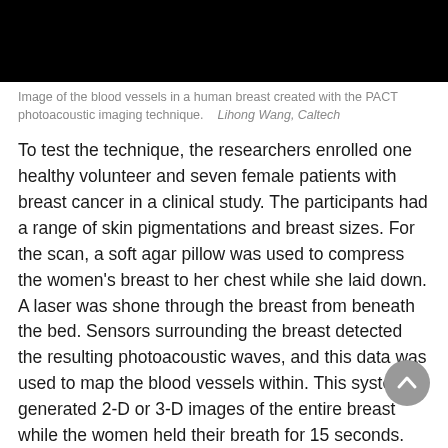[Figure (photo): Black image of blood vessels in a human breast created with the PACT photoacoustic imaging technique]
Image of the blood vessels in a human breast created with the PACT photoacoustic imaging technique.    Lihong Wang, Caltech
To test the technique, the researchers enrolled one healthy volunteer and seven female patients with breast cancer in a clinical study. The participants had a range of skin pigmentations and breast sizes. For the scan, a soft agar pillow was used to compress the women's breast to her chest while she laid down. A laser was shone through the breast from beneath the bed. Sensors surrounding the breast detected the resulting photoacoustic waves, and this data was used to map the blood vessels within. This system generated 2-D or 3-D images of the entire breast while the women held their breath for 15 seconds.
In the healthy volunteer, SBH-PACT produced a clear 3-D image of the blood vessel network throughout the entire